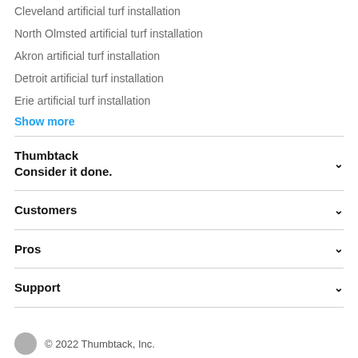Cleveland artificial turf installation
North Olmsted artificial turf installation
Akron artificial turf installation
Detroit artificial turf installation
Erie artificial turf installation
Show more
Thumbtack
Consider it done.
Customers
Pros
Support
© 2022 Thumbtack, Inc.